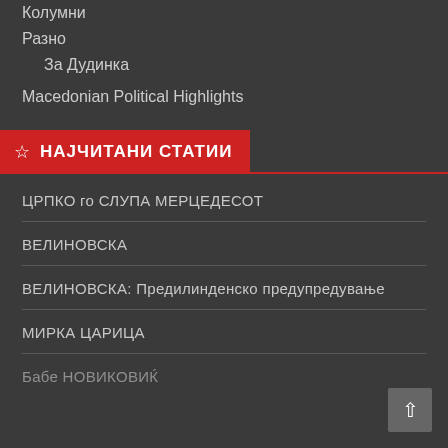Колумни
Разно
За Дудинка
Macedonian Political Highlights
☆ НАЈЧИТАНИ СТАТИИ
ЦРПКО го СЛУПА МЕРЦЕДЕСОТ
ВЕЛИНОВСКА
ВЕЛИНОВСКА: Предилинденско предупредување
МИРКА ЦАРИЦА
Бабе НОВИКОВИЌ